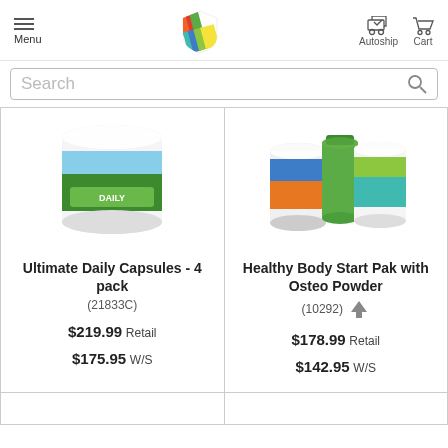Menu | [Logo] | Autoship | Cart
Search
[Figure (photo): White tub of Ultimate Daily Capsules supplement with green and blue label showing leaves and sky]
Ultimate Daily Capsules - 4 pack
(21833C)
$219.99 Retail
$175.95 W/S
[Figure (photo): Three supplement containers: orange/blue tub, green bottle, and teal/white tub for Healthy Body Start Pak with Osteo Powder]
Healthy Body Start Pak with Osteo Powder
(10292)
$178.99 Retail
$142.95 W/S